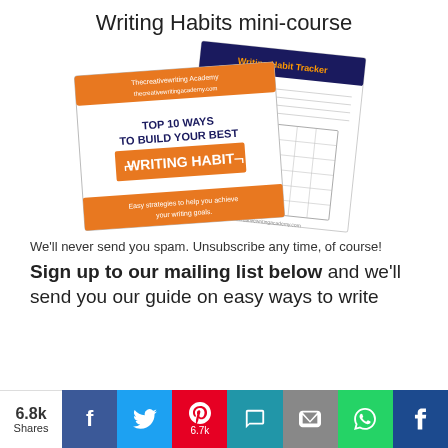Writing Habits mini-course
[Figure (illustration): Product image showing a writing habits mini-course booklet and writing habit tracker worksheet with a calendar grid. The booklet cover reads 'TOP 10 WAYS TO BUILD YOUR BEST WRITING HABIT' with orange and dark blue design elements.]
We'll never send you spam. Unsubscribe any time, of course!
Sign up to our mailing list below and we'll send you our guide on easy ways to write
6.8k Shares  [Facebook] [Twitter] [Pinterest 6.7k] [SMS] [Email] [WhatsApp] [other]